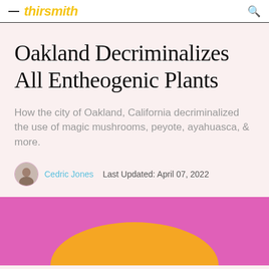thirsmith
Oakland Decriminalizes All Entheogenic Plants
How the city of Oakland, California decriminalized the use of magic mushrooms, peyote, ayahuasca, & more.
Cedric Jones   Last Updated: April 07, 2022
[Figure (illustration): Pink/magenta background with an orange semicircle at the bottom, representing a stylized sun or mushroom cap illustration]